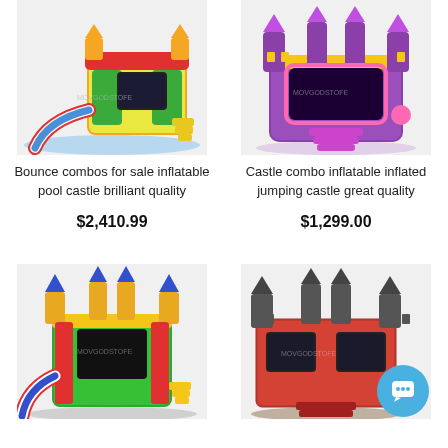[Figure (photo): Colorful bounce combo inflatable with slide and pool castle]
[Figure (photo): Purple and pink castle combo inflatable jumping castle]
Bounce combos for sale inflatable pool castle brilliant quality
Castle combo inflatable inflated jumping castle great quality
$2,410.99
$1,299.00
[Figure (photo): Colorful bounce combo castle with slide, blue red yellow green]
[Figure (photo): Red and dark bounce castle with chat button overlay]